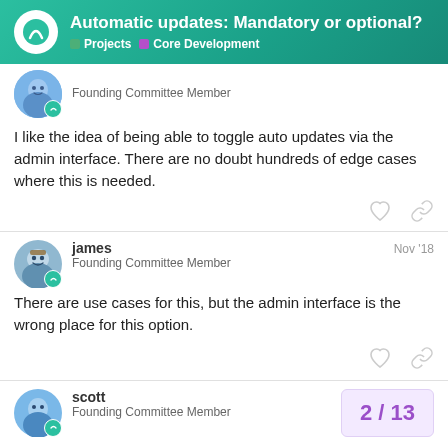Automatic updates: Mandatory or optional? | Projects | Core Development
Founding Committee Member
I like the idea of being able to toggle auto updates via the admin interface. There are no doubt hundreds of edge cases where this is needed.
james   Nov '18
Founding Committee Member
There are use cases for this, but the admin interface is the wrong place for this option.
scott
Founding Committee Member
2 / 13